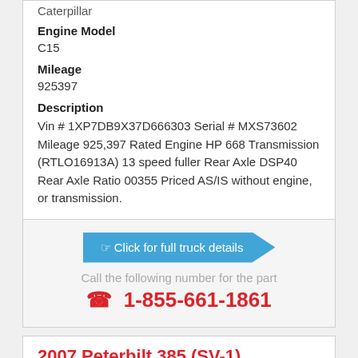Caterpillar
Engine Model
C15
Mileage
925397
Description
Vin # 1XP7DB9X37D666303 Serial # MXS73602 Mileage 925,397 Rated Engine HP 668 Transmission (RTLO16913A) 13 speed fuller Rear Axle DSP40 Rear Axle Ratio 00355 Priced AS/IS without engine, or transmission.
Click for full truck details
Call the following number for the part
1-855-661-1861
2007 Peterbilt 385 (SV-1)
$45,000.00
Archbald, PA
[Figure (photo): Truck listing image placeholder]